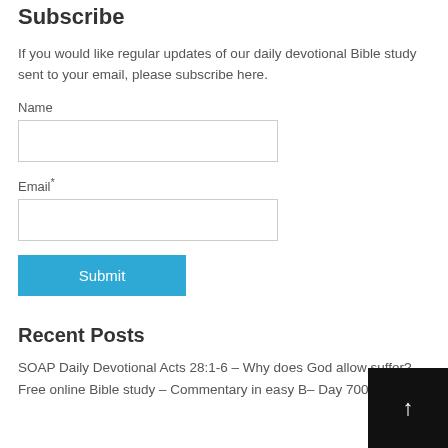Subscribe
If you would like regular updates of our daily devotional Bible study sent to your email, please subscribe here.
Name
Email*
Submit
Recent Posts
SOAP Daily Devotional Acts 28:1-6 – Why does God allow suffer? – Free online Bible study – Commentary in easy B– Day 700